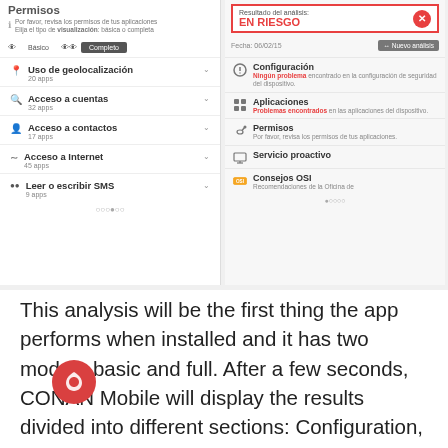[Figure (screenshot): Screenshot of CONAN Mobile app showing two panels: left panel with Permisos (Permissions) section listing items like Uso de geolocalización (20 apps), Acceso a cuentas (32 apps), Acceso a contactos (17 apps), Acceso a Internet (45 apps), Leer o escribir SMS (9 apps); right panel showing analysis result EN RIESGO (AT RISK) with date 06/02/15, and sections: Configuración, Aplicaciones, Permisos, Servicio proactivo, Consejos OSI.]
This analysis will be the first thing the app performs when installed and it has two modes: basic and full. After a few seconds, CONAN Mobile will display the results divided into different sections: Configuration, Applications, Permissions, etc. By touching each section, you will be able to access the solution which